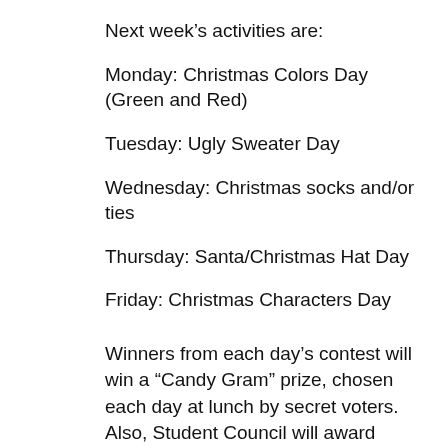Next week's activities are:
Monday: Christmas Colors Day (Green and Red)
Tuesday: Ugly Sweater Day
Wednesday: Christmas socks and/or ties
Thursday: Santa/Christmas Hat Day
Friday: Christmas Characters Day
Winners from each day's contest will win a “Candy Gram” prize, chosen each day at lunch by secret voters.  Also, Student Council will award Christmas cookies, during lunch on Tuesday, December 18, to the class who